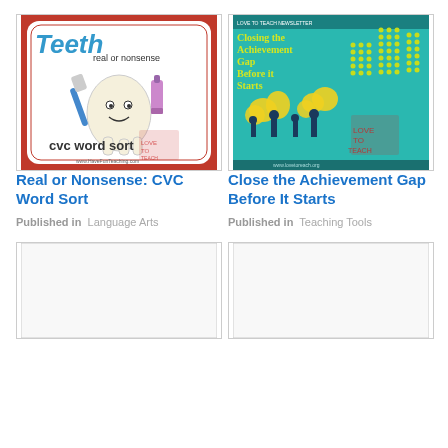[Figure (illustration): Teeth: Real or Nonsense CVC Word Sort educational card with cartoon tooth holding toothbrush, from HaveFunTeaching.com]
Real or Nonsense: CVC Word Sort
Published in  Language Arts
[Figure (infographic): Closing the Achievement Gap Before It Starts infographic with silhouettes of children and dot grid chart]
Close the Achievement Gap Before It Starts
Published in  Teaching Tools
[Figure (illustration): Bottom left card image placeholder - partially visible]
[Figure (illustration): Bottom right card image placeholder - partially visible]